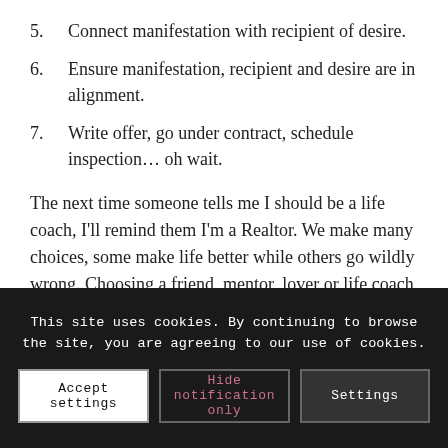5. Connect manifestation with recipient of desire.
6. Ensure manifestation, recipient and desire are in alignment.
7. Write offer, go under contract, schedule inspection… oh wait.
The next time someone tells me I should be a life coach, I'll remind them I'm a Realtor. We make many choices, some make life better while others go wildly wrong. Choosing a friend, mentor, lover or life coach can enhance the quality of your days and nights. Choose wisely.
This site uses cookies. By continuing to browse the site, you are agreeing to our use of cookies. [Accept settings] [Hide notification only] [Settings]